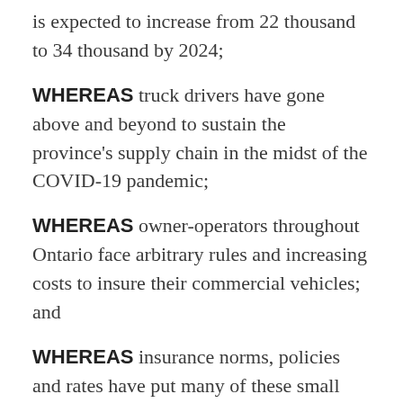is expected to increase from 22 thousand to 34 thousand by 2024;
WHEREAS truck drivers have gone above and beyond to sustain the province's supply chain in the midst of the COVID-19 pandemic;
WHEREAS owner-operators throughout Ontario face arbitrary rules and increasing costs to insure their commercial vehicles; and
WHEREAS insurance norms, policies and rates have put many of these small businesses on the verge of closure, and hundreds of jobs at risk.
THEREFORE WE, the undersigned petition the Legislative Assembly of Ontario as follows: